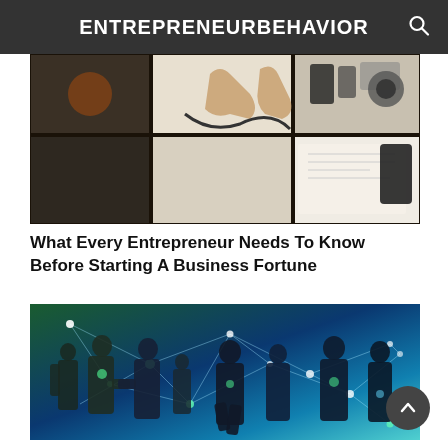ENTREPRENEURBEHAVIOR
[Figure (photo): Overhead view of a person's hands working at a desk with papers, mobile devices, cables, and office supplies organized in grid-like compartments]
What Every Entrepreneur Needs To Know Before Starting A Business Fortune
[Figure (photo): Silhouettes of business people networking with a glowing digital network/connectivity overlay in teal and green tones]